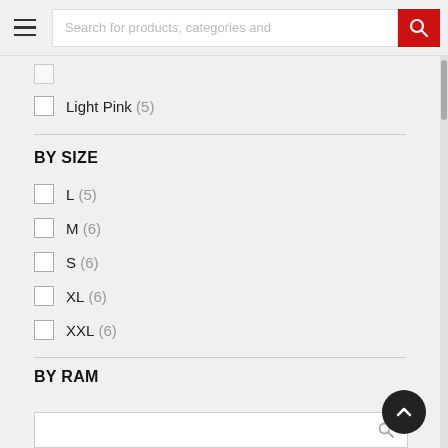Search for products, categories and
Light Pink (5)
BY SIZE
L (5)
M (6)
S (6)
XL (6)
XXL (6)
BY RAM